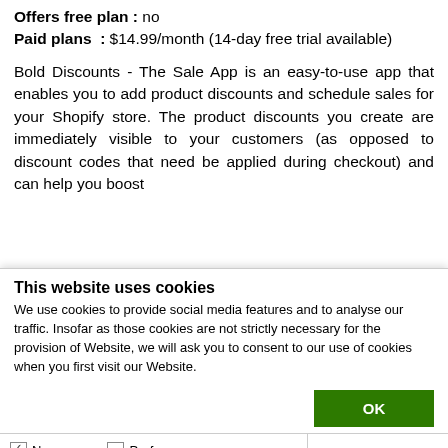Offers free plan : no
Paid plans : $14.99/month (14-day free trial available)
Bold Discounts - The Sale App is an easy-to-use app that enables you to add product discounts and schedule sales for your Shopify store. The product discounts you create are immediately visible to your customers (as opposed to discount codes that need be applied during checkout) and can help you boost
This website uses cookies
We use cookies to provide social media features and to analyse our traffic. Insofar as those cookies are not strictly necessary for the provision of Website, we will ask you to consent to our use of cookies when you first visit our Website.
OK
Necessary   Preferences   Statistics   Marketing   Show details